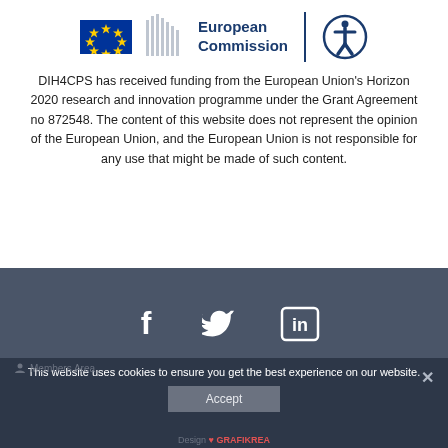[Figure (logo): European Commission logo with EU flag, stylized building graphic, European Commission text, vertical bar separator, and accessibility icon circle]
DIH4CPS has received funding from the European Union's Horizon 2020 research and innovation programme under the Grant Agreement no 872548. The content of this website does not represent the opinion of the European Union, and the European Union is not responsible for any use that might be made of such content.
[Figure (infographic): Social media icons: Facebook (f), Twitter bird, LinkedIn (in) on dark grey background]
This website uses cookies to ensure you get the best experience on our website.
Accept
Design ♥ GRAFIKREA